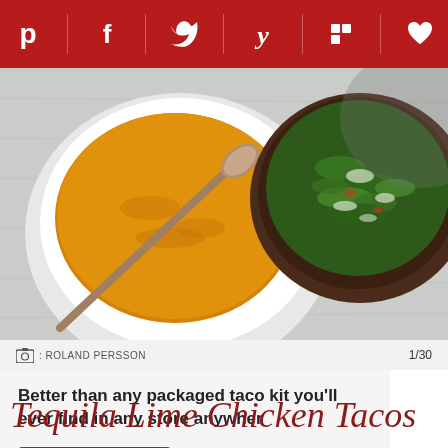Social sharing bar: Pinterest, Facebook, Twitter, Yummly, Flipboard, Fancy
[Figure (photo): Overhead view of two bowls: one white bowl with orange/yellow soup and a spoon, one dark bowl with chopped fresh cilantro and onion, on a white wood surface]
ROLAND PERSSON  1/30
Better than any packaged taco kit you'll ever find in any store anywher
RECIPE
Tequila Lime Chicken Tacos